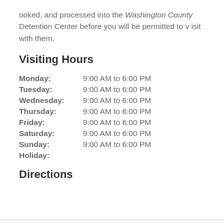ooked, and processed into the Washington County Detention Center before you will be permitted to visit with them.
Visiting Hours
| Day | Hours |
| --- | --- |
| Monday: | 9:00 AM to 6:00 PM |
| Tuesday: | 9:00 AM to 6:00 PM |
| Wednesday: | 9:00 AM to 6:00 PM |
| Thursday: | 9:00 AM to 6:00 PM |
| Friday: | 9:00 AM to 6:00 PM |
| Saturday: | 9:00 AM to 6:00 PM |
| Sunday: | 9:00 AM to 6:00 PM |
| Holiday: |  |
Directions